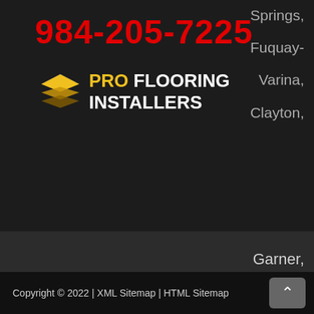984-205-7225
[Figure (logo): Pro Flooring Installers logo with layered diamond icon in gold/yellow and white text]
Springs, Fuquay-Varina, Clayton, Garner, Apex, and more!
Copyright © 2022 | XML Sitemap | HTML Sitemap